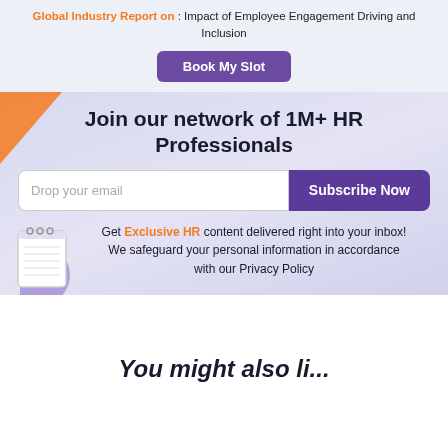Global Industry Report on : Impact of Employee Engagement Driving and Inclusion
Book My Slot
Join our network of 1M+ HR Professionals
Drop your email
Subscribe Now
Get Exclusive HR content delivered right into your inbox! We safeguard your personal information in accordance with our Privacy Policy
You might also li...